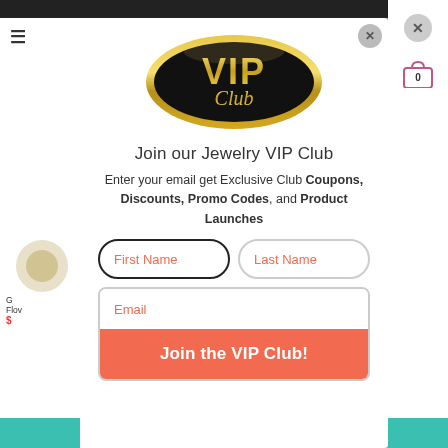[Figure (logo): VIP Club oval logo with gold border, black background, gold VIP text and script Club text]
Join our Jewelry VIP Club
Enter your email get Exclusive Club Coupons, Discounts, Promo Codes, and Product Launches
[Figure (screenshot): Form with First Name and Last Name input fields, Email input field, and Join the VIP Club! orange submit button]